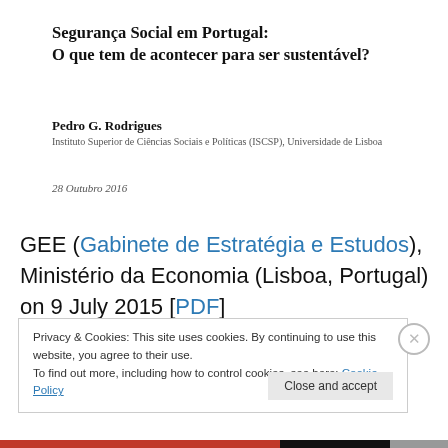Segurança Social em Portugal:
O que tem de acontecer para ser sustentável?
Pedro G. Rodrigues
Instituto Superior de Ciências Sociais e Políticas (ISCSP), Universidade de Lisboa
28 Outubro 2016
GEE (Gabinete de Estratégia e Estudos), Ministério da Economia (Lisboa, Portugal) on 9 July 2015 [PDF]
Privacy & Cookies: This site uses cookies. By continuing to use this website, you agree to their use.
To find out more, including how to control cookies, see here: Cookie Policy